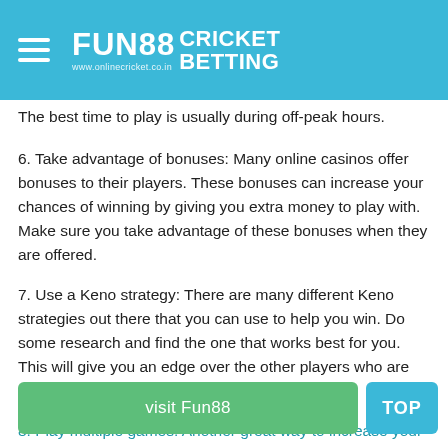FUN88 CRICKET BETTING www.onlinecricket.co.in
The best time to play is usually during off-peak hours.
6. Take advantage of bonuses: Many online casinos offer bonuses to their players. These bonuses can increase your chances of winning by giving you extra money to play with. Make sure you take advantage of these bonuses when they are offered.
7. Use a Keno strategy: There are many different Keno strategies out there that you can use to help you win. Do some research and find the one that works best for you. This will give you an edge over the other players who are not using a strategy.
8. Play multiple games: Another great way to increase your chances of winning is to play multiple games at the same